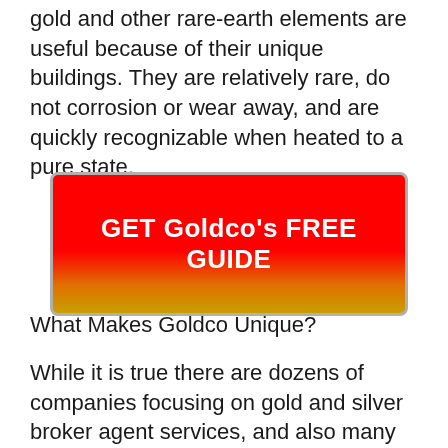gold and other rare-earth elements are useful because of their unique buildings. They are relatively rare, do not corrosion or wear away, and are quickly recognizable when heated to a pure state.
[Figure (other): Red and gold gradient call-to-action button with text 'GET Goldco's FREE GUIDE']
What Makes Goldco Unique?
While it is true there are dozens of companies focusing on gold and silver broker agent services, and also many of them are certainly fairly trusted, Goldco sticks out because of the excellent consultatory